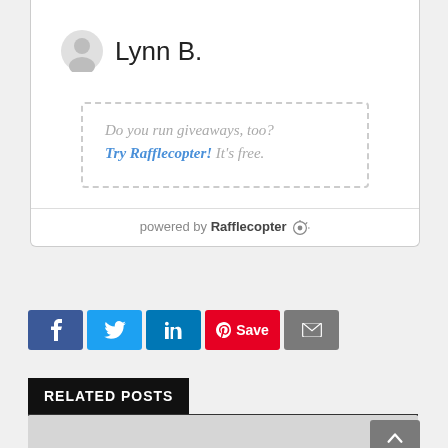[Figure (illustration): Author avatar icon (grey silhouette) next to author name 'Lynn B.']
Do you run giveaways, too? Try Rafflecopter! It's free.
powered by Rafflecopter
[Figure (infographic): Social share buttons: Facebook, Twitter, LinkedIn, Pinterest Save, Email]
RELATED POSTS
[Figure (photo): Grey placeholder image for a related post]